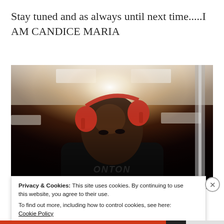Stay tuned and as always until next time.....I AM CANDICE MARIA
[Figure (photo): A person wearing red headphones and a dark sleeveless shirt, looking down, appears to be in a gym or store with bright overhead lighting.]
Privacy & Cookies: This site uses cookies. By continuing to use this website, you agree to their use.
To find out more, including how to control cookies, see here: Cookie Policy
Close and accept